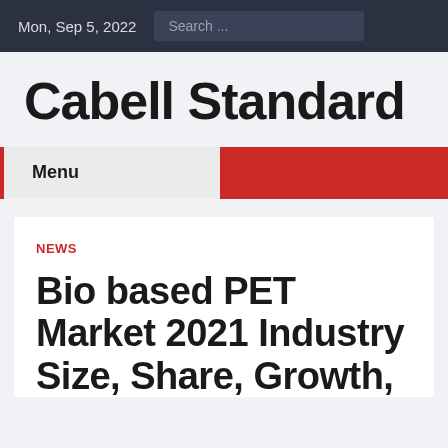Mon, Sep 5, 2022   Search ...
Cabell Standard
Menu
NEWS
Bio based PET Market 2021 Industry Size, Share, Growth,